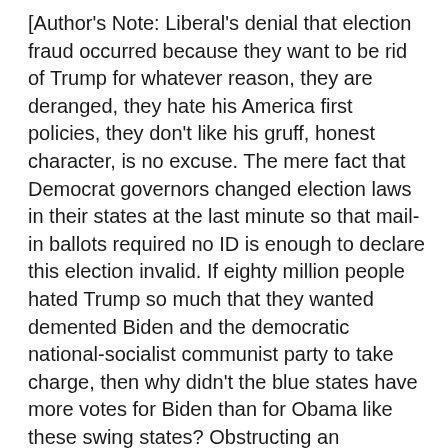[Author's Note: Liberal's denial that election fraud occurred because they want to be rid of Trump for whatever reason, they are deranged, they hate his America first policies, they don't like his gruff, honest character, is no excuse. The mere fact that Democrat governors changed election laws in their states at the last minute so that mail-in ballots required no ID is enough to declare this election invalid. If eighty million people hated Trump so much that they wanted demented Biden and the democratic national-socialist communist party to take charge, then why didn't the blue states have more votes for Biden than for Obama like these swing states? Obstructing an investigation is further proof of guilt. Honest people welcome exposure of the facts. No right thinking person believes the people rioting in the streets calling for police to be eliminated would never cheat in the election!